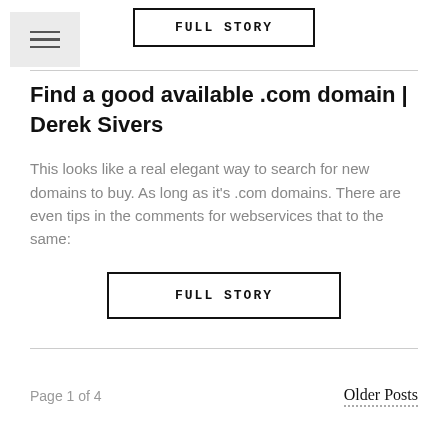[Figure (other): FULL STORY button at top of page, black border rectangle with uppercase monospace text]
[Figure (other): Hamburger menu icon button with three horizontal lines on gray background]
Find a good available .com domain | Derek Sivers
This looks like a real elegant way to search for new domains to buy. As long as it's .com domains. There are even tips in the comments for webservices that to the same:
[Figure (other): FULL STORY button, black border rectangle with uppercase monospace text]
Page 1 of 4
Older Posts